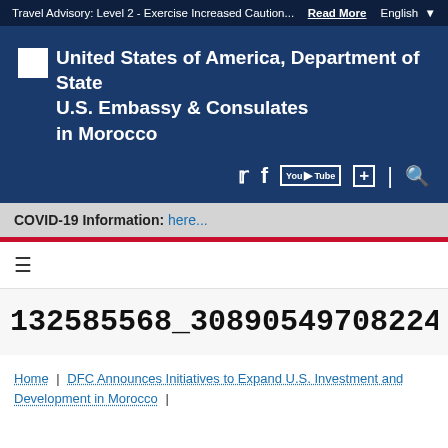Travel Advisory: Level 2 - Exercise Increased Caution... Read More English
United States of America, Department of State U.S. Embassy & Consulates in Morocco
COVID-19 Information: here...
≡
132585568_308905497082241_207326025171197
Home | DFC Announces Initiatives to Expand U.S. Investment and Development in Morocco |